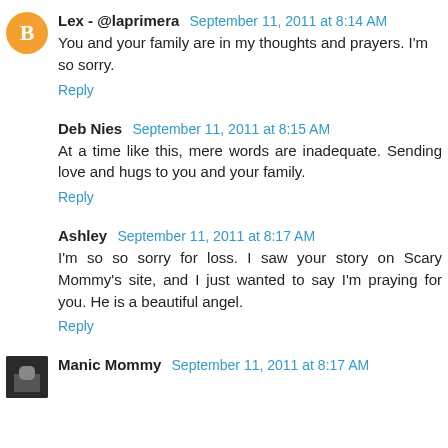Lex - @laprimera  September 11, 2011 at 8:14 AM
You and your family are in my thoughts and prayers. I'm so sorry.
Reply
Deb Nies  September 11, 2011 at 8:15 AM
At a time like this, mere words are inadequate. Sending love and hugs to you and your family.
Reply
Ashley  September 11, 2011 at 8:17 AM
I'm so so sorry for loss. I saw your story on Scary Mommy's site, and I just wanted to say I'm praying for you. He is a beautiful angel.
Reply
Manic Mommy  September 11, 2011 at 8:17 AM